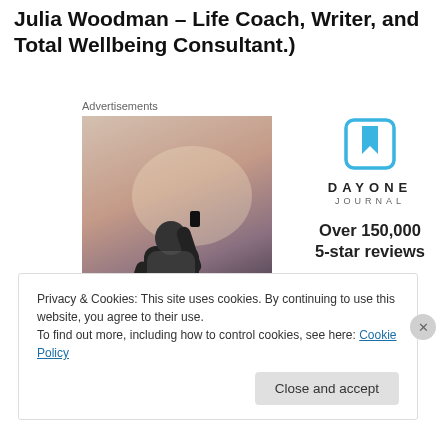Julia Woodman – Life Coach, Writer, and Total Wellbeing Consultant.)
Advertisements
[Figure (photo): Person photographed from behind holding a phone/camera up toward a sunset sky]
[Figure (logo): Day One Journal app advertisement with blue bookmark icon logo, 'DAYONE JOURNAL' text, 'Over 150,000 5-star reviews' and five star rating symbols]
Privacy & Cookies: This site uses cookies. By continuing to use this website, you agree to their use.
To find out more, including how to control cookies, see here: Cookie Policy
Close and accept